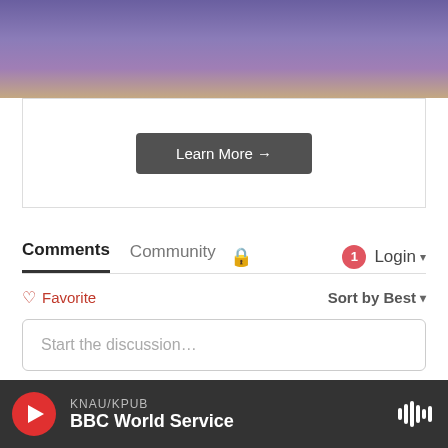[Figure (screenshot): KNAU NPR radio station website header with purple mountain landscape background, hamburger menu button, KNAU logo, and red Donate button]
[Figure (screenshot): Learn More button area with gray border box]
Comments  Community  🔒  1  Login
♡ Favorite   Sort by Best ▾
Start the discussion…
LOG IN WITH
[Figure (screenshot): Social login icons: Disqus (blue circle D), Facebook (dark blue circle f), Twitter (light blue circle bird), Google (red circle G)]
KNAU/KPUB  BBC World Service